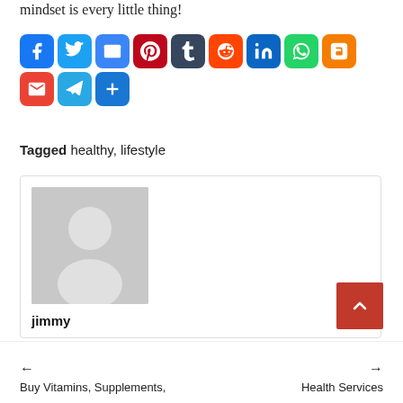mindset is every little thing!
[Figure (infographic): Row of social sharing icons: Facebook (blue), Twitter (blue), Email (blue), Pinterest (dark red), Tumblr (dark blue), Reddit (orange), LinkedIn (blue), WhatsApp (green), Blogger (orange), Gmail (red), Telegram (blue), Share (blue)]
Tagged healthy, lifestyle
[Figure (photo): Author card with gray placeholder avatar silhouette and author name 'jimmy']
Buy Vitamins, Supplements,
Health Services